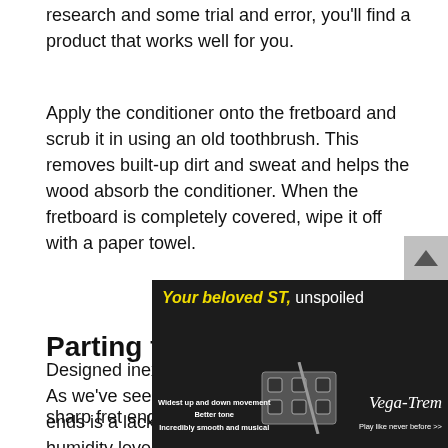research and some trial and error, you'll find a product that works well for you.
Apply the conditioner onto the fretboard and scrub it in using an old toothbrush. This removes built-up dirt and sweat and helps the wood absorb the conditioner. When the fretboard is completely covered, wipe it off with a paper towel.
Parting thoughts.
As we've seen, the primary cause of sharp fret ends is a lack of humidity. The optimum humidity level for any guitar is between 40-50 percent. Conditioning your fretboard helps minimize humidity issues, but it's still imperative to keep your guitar humidified. The bottom line: It Designed inexpensive sharp fret ends and save you a ton of work.
[Figure (advertisement): Dark advertisement banner for Vega-Trem guitar bridge. Headline: 'Your beloved ST, unspoiled' in yellow italic and white. Features listed: Widest up and down movement, Better tone, Incredibly smooth and musical. Shows bridge hardware image and Vega-Trem logo with 'Play like never before'.]